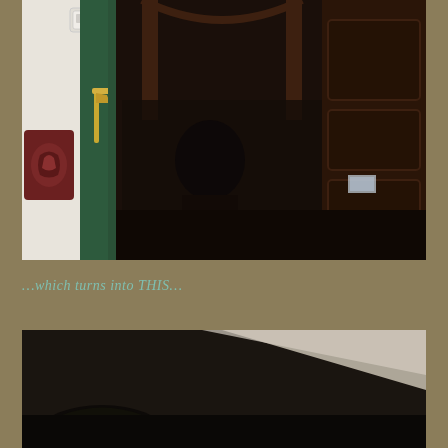[Figure (photo): A green door with a gold/brass door handle, partially open, showing a dark interior room with ornate wooden furniture and architectural details. On the left side of the door frame is a red/dark decorative plaque or crest. A white wall with a light switch is visible on the far left.]
…which turns into THIS…
[Figure (photo): A dark, moody photograph showing what appears to be a dark interior space. A light-colored diagonal shape (possibly a ceiling or wall edge) is visible in the upper portion against a dark background. The overall image is very dark.]